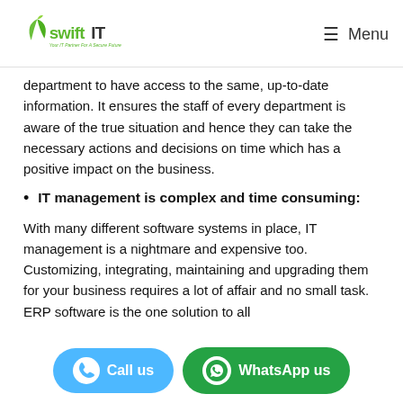swiftIT — Menu
department to have access to the same, up-to-date information. It ensures the staff of every department is aware of the true situation and hence they can take the necessary actions and decisions on time which has a positive impact on the business.
IT management is complex and time consuming:
With many different software systems in place, IT management is a nightmare and expensive too. Customizing, integrating, maintaining and upgrading them for your business requires a lot of affair and no small task. ERP software is the one solution to all